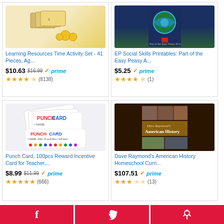[Figure (photo): Learning Resources Time Activity Set product image - colorful math tiles and yellow coins]
Learning Resources Time Activity Set - 41 Pieces, Ag...
$10.63 $16.99 prime (8138 reviews, 4.5 stars)
[Figure (photo): EP Social Skills Printables book cover - globe with children around it]
EP Social Skills Printables: Part of the Easy Peasy A...
$5.25 prime (1 review, 4.5 stars)
[Figure (photo): Punch Card reward incentive cards - colorful cards with PUNCH CARD text]
Punch Card, 100pcs Reward Incentive Card for Teacher,...
$8.99 $11.99 prime (666 reviews, 5 stars)
[Figure (photo): Dave Raymond's American History Homeschool Curriculum book cover]
Dave Raymond's American History Homeschool Curri...
$107.51 prime (13 reviews, 3.5 stars)
Facebook | Pinterest | Twitter social share buttons